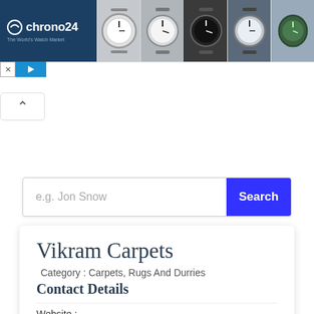[Figure (screenshot): Chrono24 advertisement banner with logo on dark blue background and watch images on the right]
[Figure (screenshot): UI close (X) and play button icons below the ad]
[Figure (screenshot): Upward chevron/collapse button]
e.g. Jon Snow
Search
Vikram Carpets
Category : Carpets, Rugs And Durries
Contact Details
Website :
Phone Number : 9953352826
Email Id